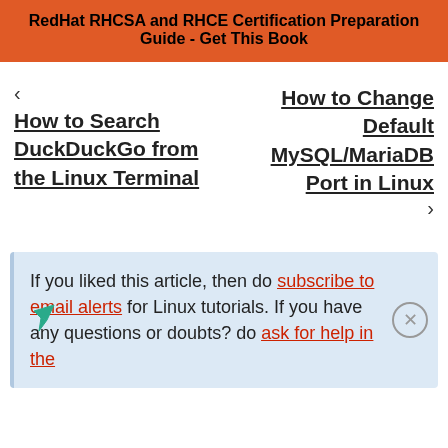RedHat RHCSA and RHCE Certification Preparation Guide - Get This Book
‹ How to Search DuckDuckGo from the Linux Terminal
How to Change Default MySQL/MariaDB Port in Linux ›
If you liked this article, then do subscribe to email alerts for Linux tutorials. If you have any questions or doubts? do ask for help in the